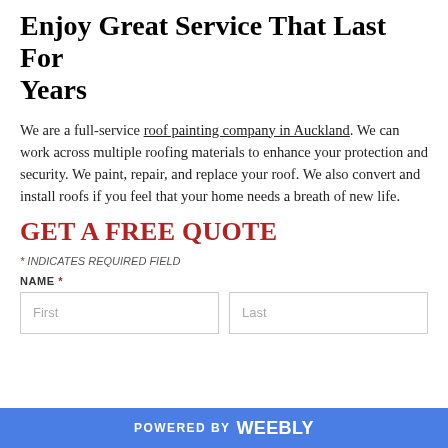Enjoy Great Service That Last For Years
We are a full-service roof painting company in Auckland. We can work across multiple roofing materials to enhance your protection and security. We paint, repair, and replace your roof. We also convert and install roofs if you feel that your home needs a breath of new life.
GET A FREE QUOTE
* INDICATES REQUIRED FIELD
NAME *
First   Last
POWERED BY weebly